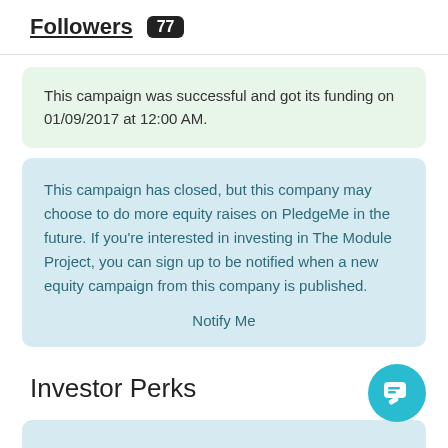Followers 77
This campaign was successful and got its funding on 01/09/2017 at 12:00 AM.
This campaign has closed, but this company may choose to do more equity raises on PledgeMe in the future. If you're interested in investing in The Module Project, you can sign up to be notified when a new equity campaign from this company is published.

Notify Me
Investor Perks